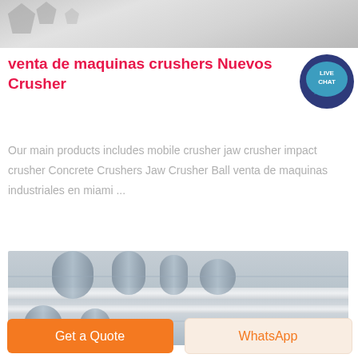[Figure (photo): Top portion of a photo showing industrial machinery parts with gray metallic background]
venta de maquinas crushers Nuevos Crusher
[Figure (other): Live Chat badge icon - teal circular badge with speech bubble and text LIVE CHAT]
Our main products includes mobile crusher jaw crusher impact crusher Concrete Crushers Jaw Crusher Ball venta de maquinas industriales en miami ...
[Figure (photo): Photo of industrial crusher machinery showing pipes, cylinders and metal framework in gray tones]
Get a Quote
WhatsApp